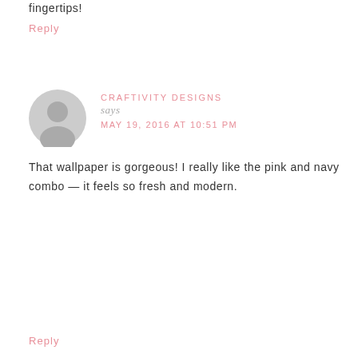fingertips!
Reply
CRAFTIVITY DESIGNS
says
MAY 19, 2016 AT 10:51 PM
That wallpaper is gorgeous! I really like the pink and navy combo — it feels so fresh and modern.
Reply